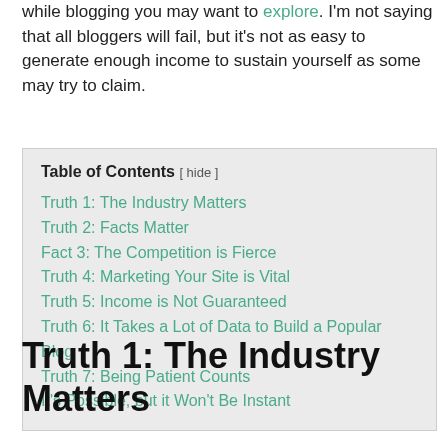while blogging you may want to explore. I'm not saying that all bloggers will fail, but it's not as easy to generate enough income to sustain yourself as some may try to claim.
| Table of Contents |
| --- |
| Truth 1: The Industry Matters |
| Truth 2: Facts Matter |
| Fact 3: The Competition is Fierce |
| Truth 4: Marketing Your Site is Vital |
| Truth 5: Income is Not Guaranteed |
| Truth 6: It Takes a Lot of Data to Build a Popular Blog |
| Truth 7: Being Patient Counts |
| It's Possible, but it Won't Be Instant |
Truth 1: The Industry Matters